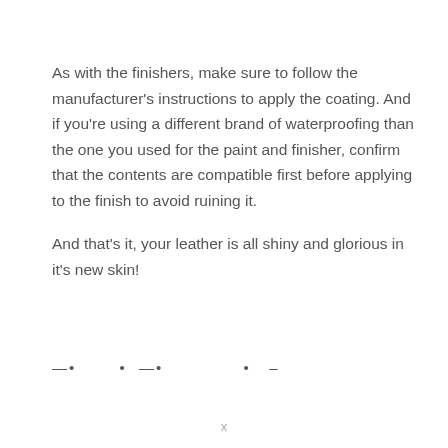As with the finishers, make sure to follow the manufacturer's instructions to apply the coating. And if you're using a different brand of waterproofing than the one you used for the paint and finisher, confirm that the contents are compatible first before applying to the finish to avoid ruining it.
And that's it, your leather is all shiny and glorious in it's new skin!
—• • —• • -